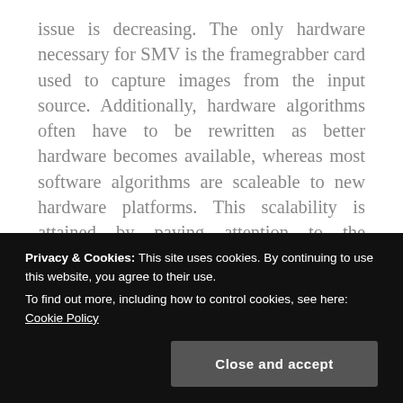issue is decreasing. The only hardware necessary for SMV is the framegrabber card used to capture images from the input source. Additionally, hardware algorithms often have to be rewritten as better hardware becomes available, whereas most software algorithms are scaleable to new hardware platforms. This scalability is attained by paying attention to the characteristics that are used in creating the compressed movie, as well as to those that are employed in its playback. Once again, these characteristics are the movie size,
Privacy & Cookies: This site uses cookies. By continuing to use this website, you agree to their use.
To find out more, including how to control cookies, see here: Cookie Policy
Close and accept